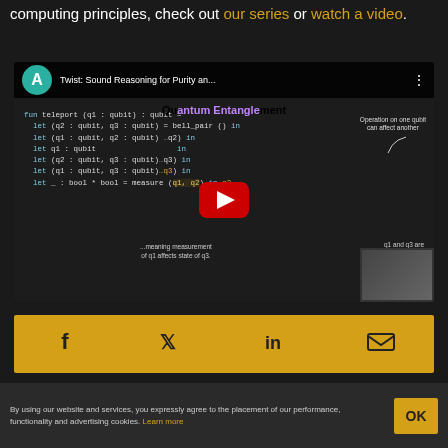computing principles, check out our series or watch a video.
[Figure (screenshot): YouTube video thumbnail showing a Twist: Sound Reasoning for Purity and Quantum Entanglement video with code demonstrating quantum teleportation using qubits, annotations about quantum entanglement, and a play button overlay.]
[Figure (infographic): Social sharing bar with Facebook, Twitter, LinkedIn, and email icons on a gold/yellow background.]
By using our website and services, you expressly agree to the placement of our performance, functionality and advertising cookies. Learn more